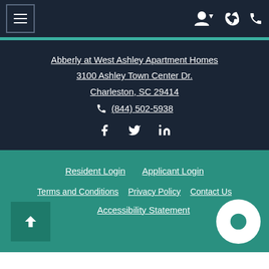Navigation bar with hamburger menu and icons
Abberly at West Ashley Apartment Homes
3100 Ashley Town Center Dr.
Charleston, SC 29414
(844) 502-5938
[Figure (other): Social media icons: Facebook, Twitter, LinkedIn]
Resident Login  Applicant Login
Terms and Conditions  Privacy Policy  Contact Us
Accessibility Statement